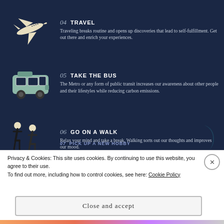04 TRAVEL — Traveling breaks routine and opens up discoveries that lead to self-fulfillment. Get out there and enrich your experiences.
05 TAKE THE BUS — The Metro or any form of public transit increases our awareness about other people and their lifestyles while reducing carbon emissions.
06 GO ON A WALK — Relax your mind and take a break. Walking sorts out our thoughts and improves our mood.
07 PICK UP A NEW HOBBY
Privacy & Cookies: This site uses cookies. By continuing to use this website, you agree to their use. To find out more, including how to control cookies, see here: Cookie Policy
Close and accept